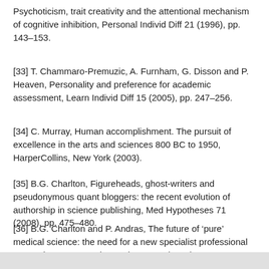Psychoticism, trait creativity and the attentional mechanism of cognitive inhibition, Personal Individ Diff 21 (1996), pp. 143–153.
[33] T. Chammaro-Premuzic, A. Furnham, G. Disson and P. Heaven, Personality and preference for academic assessment, Learn Individ Diff 15 (2005), pp. 247–256.
[34] C. Murray, Human accomplishment. The pursuit of excellence in the arts and sciences 800 BC to 1950, HarperCollins, New York (2003).
[35] B.G. Charlton, Figureheads, ghost-writers and pseudonymous quant bloggers: the recent evolution of authorship in science publishing, Med Hypotheses 71 (2008), pp. 475–480.
[36] B.G. Charlton and P. Andras, The future of 'pure' medical science: the need for a new specialist professional research system, Med Hypotheses 65 (2005), pp. 419–425.